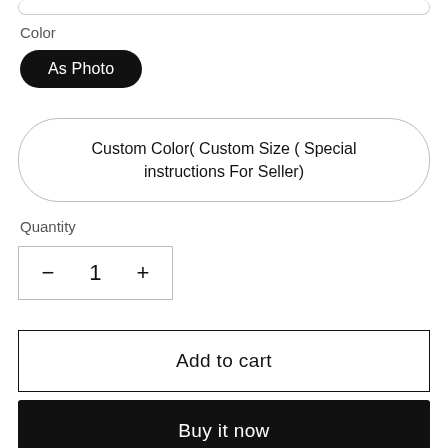Color
As Photo
Custom Color( Custom Size ( Special instructions For Seller)
Quantity
- 1 +
Add to cart
Buy it now